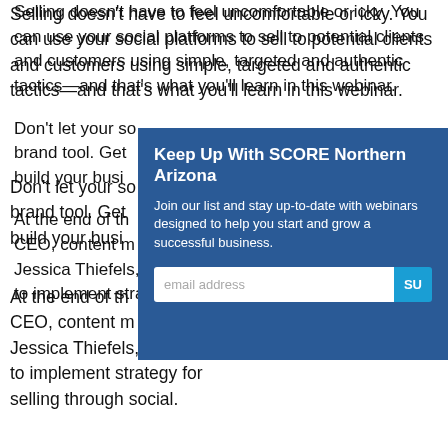Selling doesn't have to feel uncomfortable or icky. You can use your social platforms to sell to potential clients and customers using simple, targeted and authentic tactics—and that's what you'll learn in this webinar.
Don't let your social media sit idle as a brand tool. Get ... build your busi...
At the end of th... CEO, content m... Jessica Thiefels, ... to implement strategy for selling through social.
[Figure (other): Email signup modal overlay with dark blue background. Title: 'Keep Up With SCORE Northern Arizona'. Body text: 'Join our list and stay up-to-date with webinars designed to help you start and grow a successful business.' Email input field with placeholder 'email address' and a blue Submit button.]